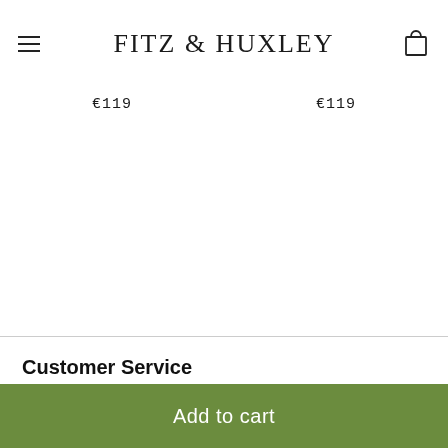FITZ & HUXLEY
€119   €119
Customer Service
Delivery & Returns
Payment Methods
FAQ
Contact
Data Privacy Statement
Terms and Conditions
Add to cart